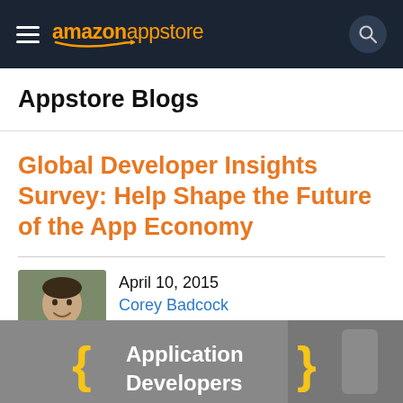amazon appstore
Appstore Blogs
Global Developer Insights Survey: Help Shape the Future of the App Economy
April 10, 2015
Corey Badcock
Announcements
Developer Insights
Marketing
Monetization
[Figure (photo): Partial screenshot of an Application Developers banner/image at the bottom of the page, showing curly brace decorations in yellow and white text on grey background]